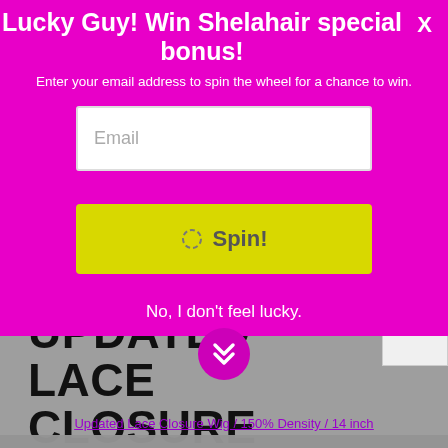Lucky Guy! Win Shelahair special bonus!
Enter your email address to spin the wheel for a chance to win.
Email
⟳ Spin!
No, I don't feel lucky.
GLUELESS UPDATED LACE CLOSURE WIG CAP CONSTRUCTION
Updated Lace Closure Wig / 150% Density / 14 inch
We use cookies to improve your experience on our website. By browsing this website, you agree to our use of cookies.
ACCEPT